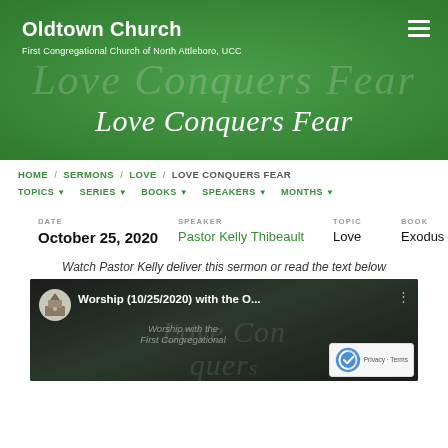Oldtown Church
First Congregational Church of North Attleboro, UCC
Love Conquers Fear
HOME / SERMONS / LOVE / LOVE CONQUERS FEAR
TOPICS ▾  SERIES ▾  BOOKS ▾  SPEAKERS ▾  MONTHS ▾
DATE
October 25, 2020
SPEAKER
Pastor Kelly Thibeault
TOPIC
Love
BOOK
Exodus
Watch Pastor Kelly deliver this sermon or read the text below
[Figure (screenshot): YouTube video thumbnail showing 'Worship (10/25/2020) with the O...' with church logo icon, dark background with overlaid text 'Love Conquers' and 'Worship with the First Congregational']